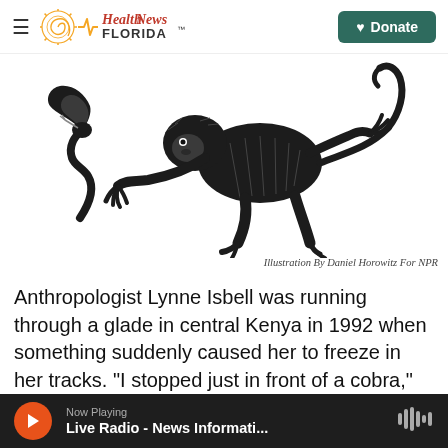Health News FLORIDA — Donate
[Figure (illustration): Black ink illustration of a monkey running away from a cobra snake with its hood raised, on a white background.]
Illustration By Daniel Horowitz For NPR
Anthropologist Lynne Isbell was running through a glade in central Kenya in 1992 when something suddenly caused her to freeze in her tracks. "I stopped just in front of a cobra," she says. "It was raised with its hood spread out."
Now Playing — Live Radio - News Informati...